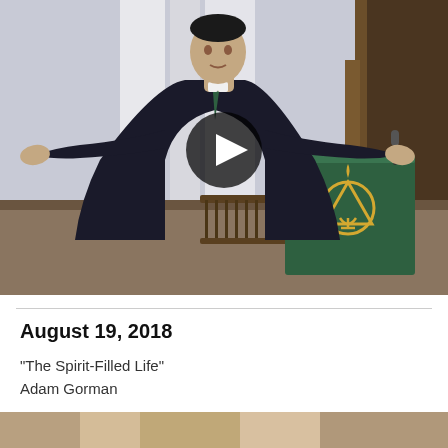[Figure (photo): A minister in black robes with arms outstretched standing at a green pulpit with a religious symbol (chalice with flame inside a triangle and circle) in a church setting. A play button overlay is visible in the center.]
August 19, 2018
“The Spirit-Filled Life”
Adam Gorman
Transcript  Order of Worship
[Figure (photo): Bottom strip showing partial view of another image, appears to be warm-toned interior photo.]